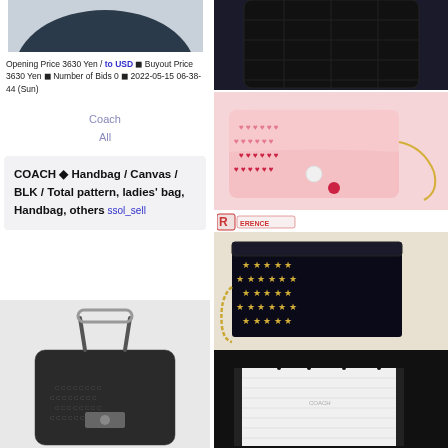[Figure (photo): Top portion of a dark navy/black bag visible at top of left column]
Opening Price 3630 Yen / to USD ◼ Buyout Price 3630 Yen ◼ Number of Bids 0 ◼ 2022-05-15 06-38-44 (Sun)
Coach
All
COACH ◆ Handbag / Canvas / BLK / Total pattern, ladies' bag, Handbag, others ssol_sell
[Figure (photo): Black Coach handbag with signature C pattern and buckle detail, bottom of left column]
[Figure (photo): Black quilted bag top visible at top right corner]
[Figure (photo): Pink leather crossbody bag with heart pattern and chain strap]
[Figure (photo): Reference badge logo]
[Figure (photo): Black star-patterned chain bag with gold star studs]
[Figure (photo): White and black tote bag, bottom right]